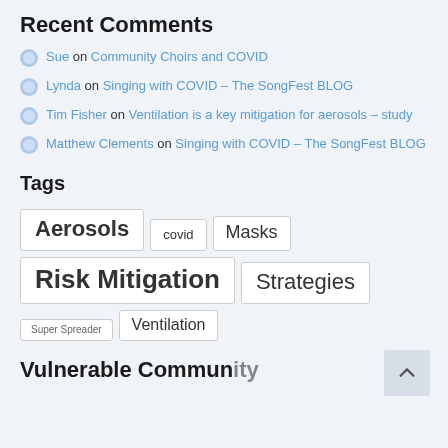Recent Comments
Sue on Community Choirs and COVID
Lynda on Singing with COVID – The SongFest BLOG
Tim Fisher on Ventilation is a key mitigation for aerosols – study
Matthew Clements on Singing with COVID – The SongFest BLOG
Tags
Aerosols
covid
Masks
Risk Mitigation
Strategies
Super Spreader
Ventilation
Vulnerable Community